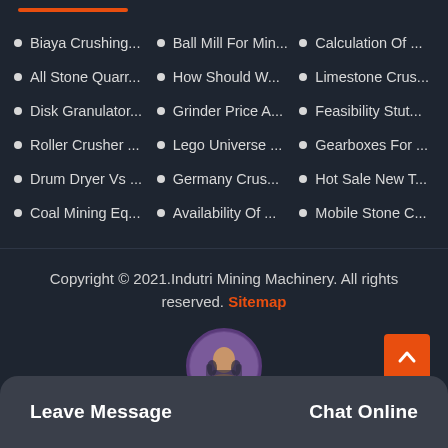Biaya Crushing...
Ball Mill For Min...
Calculation Of ...
All Stone Quarr...
How Should W...
Limestone Crus...
Disk Granulator...
Grinder Price A...
Feasibility Stut...
Roller Crusher ...
Lego Universe ...
Gearboxes For ...
Drum Dryer Vs ...
Germany Crus...
Hot Sale New T...
Coal Mining Eq...
Availability Of ...
Mobile Stone C...
Copyright © 2021.Indutri Mining Machinery. All rights reserved. Sitemap
Leave Message
Chat Online